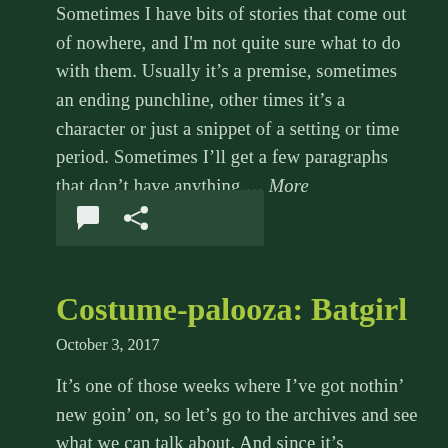Sometimes I have bits of stories that come out of nowhere, and I'm not quite sure what to do with them. Usually it's a premise, sometimes an ending punchline, other times it's a character or just a snippet of a setting or time period. Sometimes I'll get a few paragraphs that don't have anything … More
[Figure (other): Icon bar with comment bubble icon and share/link icon on dark green background]
Costume-palooza: Batgirl
October 3, 2017
It's one of those weeks where I've got nothin' new goin' on, so let's go to the archives and see what we can talk about. And since it's Halloween and my daily artistic life is costumes, guess what another theme this month is…